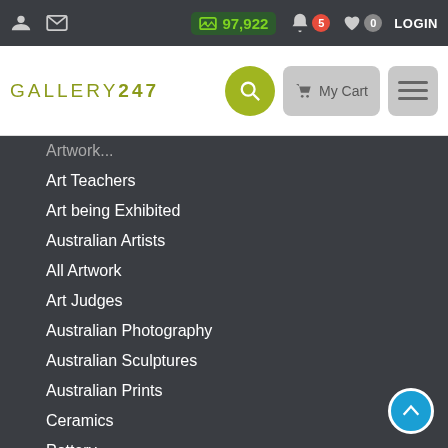Gallery247 top navigation bar with icons, 97,922 image count, 5 notifications, 0 favourites, LOGIN
[Figure (screenshot): Gallery247 website logo and navigation header with search button, My Cart button, and menu button]
Artwork (partial/faded)
Art Teachers
Art being Exhibited
Australian Artists
All Artwork
Art Judges
Australian Photography
Australian Sculptures
Australian Prints
Ceramics
Pottery
Glassware
Crafts
Jewellery